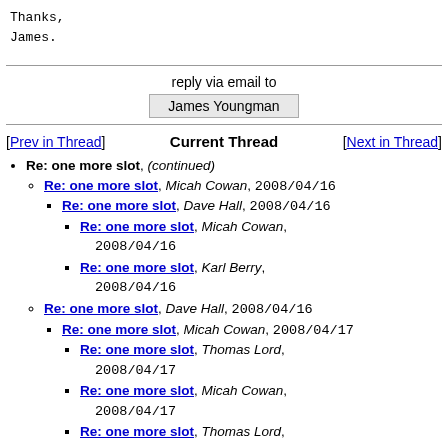Thanks,
James.
reply via email to
James Youngman
[Prev in Thread]    Current Thread    [Next in Thread]
Re: one more slot, (continued)
Re: one more slot, Micah Cowan, 2008/04/16
Re: one more slot, Dave Hall, 2008/04/16
Re: one more slot, Micah Cowan, 2008/04/16
Re: one more slot, Karl Berry, 2008/04/16
Re: one more slot, Dave Hall, 2008/04/16
Re: one more slot, Micah Cowan, 2008/04/17
Re: one more slot, Thomas Lord, 2008/04/17
Re: one more slot, Micah Cowan, 2008/04/17
Re: one more slot, Thomas Lord,